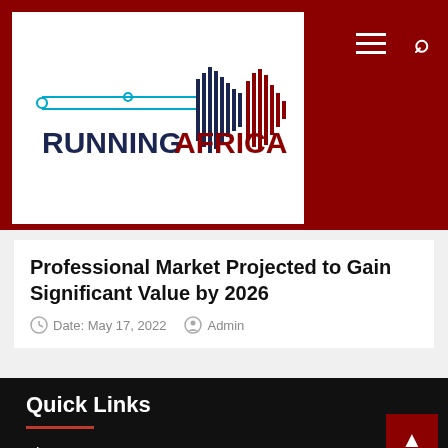Running Africa – website header with logo, hamburger menu, and search icon
Professional Market Projected to Gain Significant Value by 2026
Date: May 17, 2022  Admin
Quick Links
About US
Our Staff
Editorial Policy
Contact US
Terms And Conditions
Privacy Policy